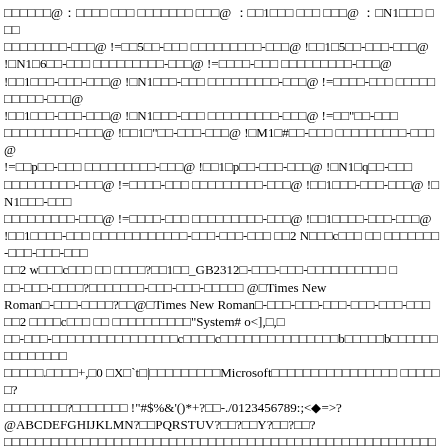□□□□□□@：□□□□ □□□ □□□□□□□ □□□@ ：□□1□□□ □□□ □□□@ ：□N1□□□ □□□ □□□□□□□□-□□□@ !=□□5□□-□□□ □□□□□□□□□-□□□@ !□□1□5□□-□□□-□□□@ !□N1□6□□-□□□ □□□□□□□□□-□□□@ !=□□□□-□□□ □□□□□□□□□-□□□@ !□□1□□□-□□□-□□□@ !□N1□□□-□□□ □□□□□□□□□-□□□@ !=□□□□-□□□ □□□□□□□□□□-□□□@ !□□1□□□-□□□-□□□@ !□N1□□□-□□□ □□□□□□□□□-□□□@ !=□□"□□-□□□ □□□□□□□□□-□□□@ !□□1□"□□-□□□-□□□@ !□M1□#□□-□□□ □□□□□□□□□-□□□@ !=□□p□□-□□□ □□□□□□□□□-□□□@ !□□1□p□□-□□□-□□□@ !□N1□q□□-□□□ □□□□□□□□□-□□□@ !=□□□□-□□□ □□□□□□□□□-□□□@ !□□1□□□-□□□-□□□@ !□N1□□□-□□□ □□□□□□□□□-□□□@ !=□□□□-□□□ □□□□□□□□□-□□□@ !□□1□□□□-□□□-□□□@ !□□1□□□□-□□□ □□□□□□□□□□□□-□□□-□□□-□□□ □□2 N□□□c□□□ □□ □□□□□□□-□□□-□□□-□□□ □□2 w□□□c□□□ □□ □□□□?□□1□□_GB2312□-□□□-□□□-□□□□□□□□□□ □ □□-□□□-□□□□?□□□□□□□-□□□-□□□-□□□□□ @□Times New Roman□-□□□-□□□□?□□@□Times New Roman□-□□□-□□□-□□□-□□□-□□□-□□□ □□2 □□□□c□□□ □□ □□□□□□□□□□"System# o<],□,□ □□-□□□-□□□□□□□□□□□□□□□□c□□□□c□□□□□□□□□□□□□□□b□□□□□b□□□□□□□□□□□□□□ □□□□□.□□□□+,□0 □X□`t□|□□□□□□□□□Microsoft□□□□□□□□□□□□□□□□ □□□□□□? □□□□□□□□?□□□□□□□ !"#$%&'()*+?□□-./**0123456789:;<◆=>? @ABCDEFGHIJKLMN?□□PQRSTUV?□□?□□Y?□□?□□? □□□□□□□□□□□□□□□□□□□□□□□□□□□□□□□□□□□□□□□□□□□□□□□□□□□□□□□□□□□□□□ Entry□□□□□□□□□□□□ □F□□□[€Data □□□□□□□□□□□□□□1Table□□□□□□□□D"WordDocument□□□□□□□□~"□Summar□□DocumentSummaryInformation8□□□□□□□□□□□O□□CompObj□□□□□□□□□□ □□□□□□□□□□□□□□□□□□□□□□□□□□□□□□□□□□□□□□□□□□□□□□□□□□□□□□□□□□□□□□□□ □□□□□ □F□Microsoft Word 97-2003 □□ MSWordDoc□Word.Document.8?□